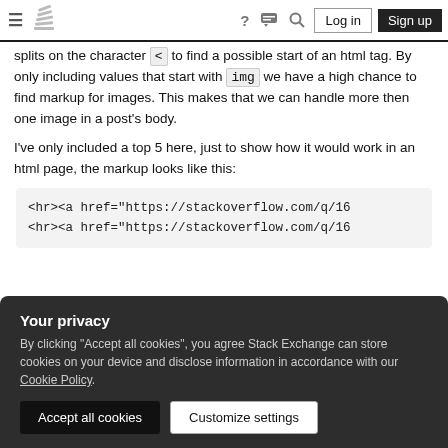Stack Overflow navigation bar with hamburger menu, logo, icons (help, chat, search), Log in and Sign up buttons
splits on the character < to find a possible start of an html tag. By only including values that start with img we have a high chance to find markup for images. This makes that we can handle more then one image in a post's body.
I've only included a top 5 here, just to show how it would work in an html page, the markup looks like this:
<hr><a href="https://stackoverflow.com/q/16
<hr><a href="https://stackoverflow.com/q/16
Your privacy
By clicking "Accept all cookies", you agree Stack Exchange can store cookies on your device and disclose information in accordance with our Cookie Policy.
Accept all cookies   Customize settings
to each post.